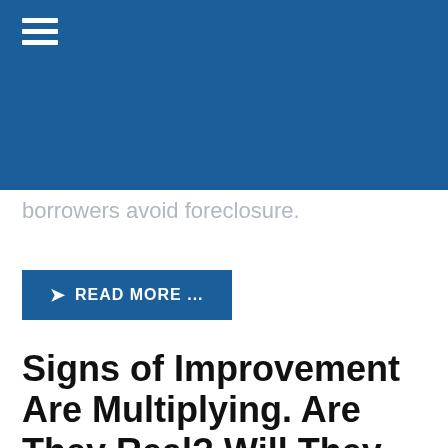borrowers avoid foreclosure.
READ MORE ...
Signs of Improvement Are Multiplying. Are They Real? Will They Continue?